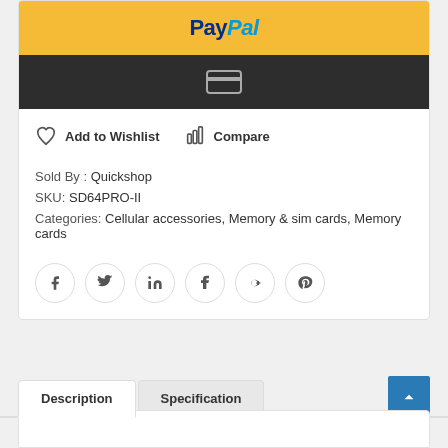[Figure (screenshot): PayPal payment button with yellow/gold background and PayPal logo in dark blue and light blue]
[Figure (screenshot): Dark/black payment button with credit card icon]
Add to Wishlist   Compare
Sold By : Quickshop
SKU: SD64PRO-II
Categories: Cellular accessories, Memory & sim cards, Memory cards
[Figure (illustration): Social media share icons: Facebook, Twitter, LinkedIn, Tumblr, Google+, Pinterest]
Description
Specification